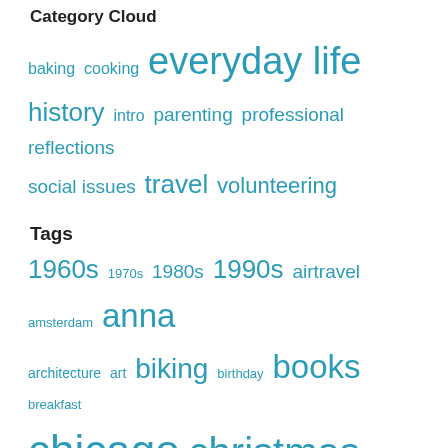Category Cloud
[Figure (infographic): Tag/category cloud showing: baking (small), cooking (small), everyday life (xlarge), history (large), intro (small), parenting (medium), professional (medium), reflections (medium), social issues (medium), travel (large), volunteering (medium)]
Tags
[Figure (infographic): Tag cloud showing: 1960s (large), 1970s (small), 1980s (medium), 1990s (large), airtravel (medium), amsterdam (small), anna (xlarge), architecture (small), art (small), biking (large), birthday (small), books (xlarge), breakfast (small), chicago (xxlarge), christmas (xxlarge), christmas spirit (large), community (medium), conference (medium), cso (small), cyprus (small), desserts (medium), education (medium)]